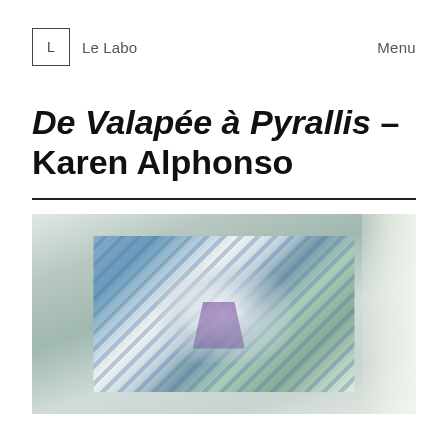L  Le Labo   Menu
De Valapée à Pyrallis – Karen Alphonso
[Figure (photo): A large textile artwork hung on a white wall. The piece features abstract geometric shapes with diagonal stripes in blue, teal, and green tones with a white/light center glow and purple accents. A white curtain is partially visible on the right side.]